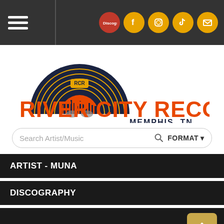[Figure (screenshot): Navigation bar with hamburger menu on left and social media icons (Discogs, Facebook, Instagram, TikTok, Email) on right]
[Figure (logo): River City Records logo with vinyl record arc and Memphis skyline silhouette, text reads RIVER CITY RECORDS MEMPHIS, TN]
[Figure (screenshot): Search bar with placeholder text 'Search Artist/Music' and FORMAT dropdown button]
ARTIST - MUNA
DISCOGRAPHY
[Figure (screenshot): Dark content area at bottom with golden scroll-to-top button in lower right]